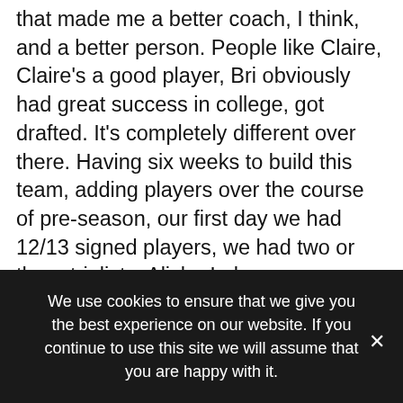that made me a better coach, I think, and a better person. People like Claire, Claire's a good player, Bri obviously had great success in college, got drafted. It's completely different over there. Having six weeks to build this team, adding players over the course of pre-season, our first day we had 12/13 signed players, we had two or three trialists. Alisha Lehmann came late, Kate Longhurst came late, we had Ria Percival come late, we've added in January. So it's been different from what I'm used to. What I try to do if I can, as best as possible, is I'll want to have our recruitment done before we break up so I can have a bit of time off and recharge and then I can start planning and I've got
We use cookies to ensure that we give you the best experience on our website. If you continue to use this site we will assume that you are happy with it.